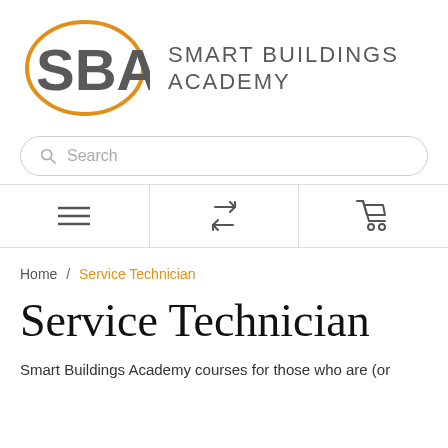[Figure (logo): Smart Buildings Academy logo: SBA letters inside an orange oval ellipse, with 'SMART BUILDINGS ACADEMY' text to the right in gray uppercase letters]
Search
[Figure (infographic): Toolbar with three icons: hamburger menu (three lines), refresh/swap arrows, and shopping cart]
Home / Service Technician
Service Technician
Smart Buildings Academy courses for those who are (or want to be) a BAC service technician